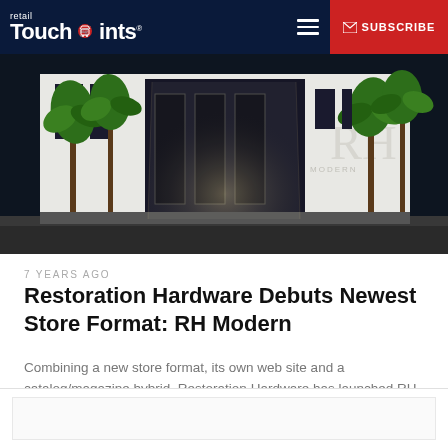retail TouchPoints® — SUBSCRIBE
[Figure (photo): Exterior night rendering of an RH Modern store with palm trees, illuminated entrance corridor, large glass doors, and RH lettering on white building facade]
7 YEARS AGO
Restoration Hardware Debuts Newest Store Format: RH Modern
Combining a new store format, its own web site and a catalog/magazine hybrid, Restoration Hardware has launched RH Modern. The omnichannel division...